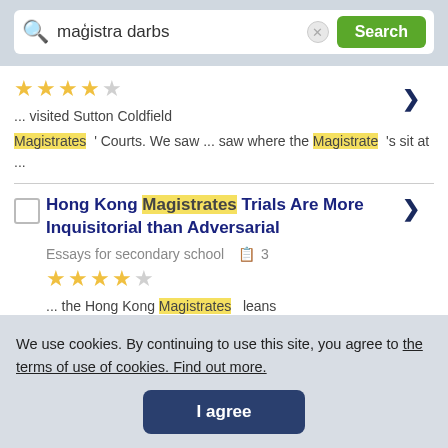[Figure (screenshot): Search bar UI with magnifying glass icon, text input showing 'magistra darbs', clear button, and green Search button]
... visited Sutton Coldfield
Magistrates ' Courts. We saw ... saw where the Magistrate 's sit at ...
Hong Kong Magistrates Trials Are More Inquisitorial than Adversarial
Essays for secondary school  3
... the Hong Kong Magistrates leans
We use cookies. By continuing to use this site, you agree to the terms of use of cookies. Find out more.